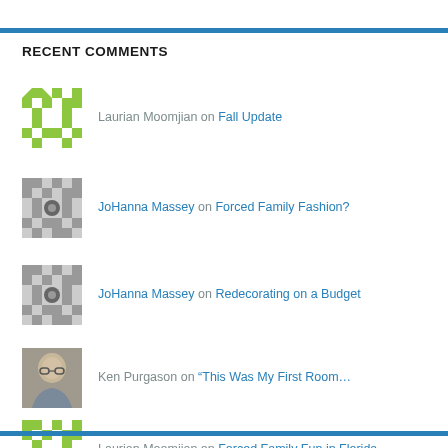RECENT COMMENTS
Laurian Moomjian on Fall Update
JoHanna Massey on Forced Family Fashion?
JoHanna Massey on Redecorating on a Budget
Ken Purgason on “This Was My First Room…
Laurian Moomjian on Forced Family Fun in Florida